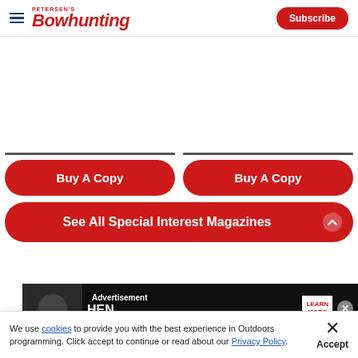Petersen's Bowhunting
[Figure (screenshot): White space area — likely placeholder for magazine cover images]
Buy A Copy
Buy A Copy
See All Special Interest Magazines
[Figure (screenshot): Advertisement banner with 'Advertisement' label, partial text 'HEN', 'YOUR DOG IS OVERHEATER', Learn More button, and close X button]
We use cookies to provide you with the best experience in Outdoors programming. Click accept to continue or read about our Privacy Policy.